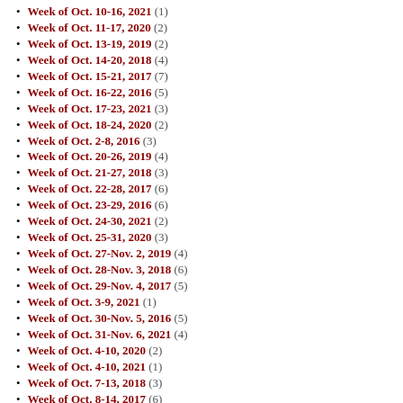Week of Oct. 10-16, 2021 (1)
Week of Oct. 11-17, 2020 (2)
Week of Oct. 13-19, 2019 (2)
Week of Oct. 14-20, 2018 (4)
Week of Oct. 15-21, 2017 (7)
Week of Oct. 16-22, 2016 (5)
Week of Oct. 17-23, 2021 (3)
Week of Oct. 18-24, 2020 (2)
Week of Oct. 2-8, 2016 (3)
Week of Oct. 20-26, 2019 (4)
Week of Oct. 21-27, 2018 (3)
Week of Oct. 22-28, 2017 (6)
Week of Oct. 23-29, 2016 (6)
Week of Oct. 24-30, 2021 (2)
Week of Oct. 25-31, 2020 (3)
Week of Oct. 27-Nov. 2, 2019 (4)
Week of Oct. 28-Nov. 3, 2018 (6)
Week of Oct. 29-Nov. 4, 2017 (5)
Week of Oct. 3-9, 2021 (1)
Week of Oct. 30-Nov. 5, 2016 (5)
Week of Oct. 31-Nov. 6, 2021 (4)
Week of Oct. 4-10, 2020 (2)
Week of Oct. 4-10, 2021 (1)
Week of Oct. 7-13, 2018 (3)
Week of Oct. 8-14, 2017 (6)